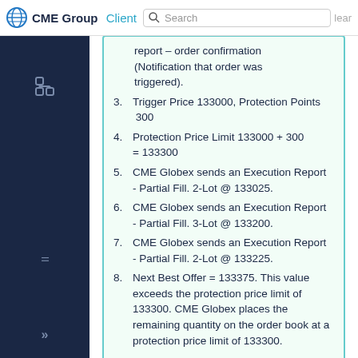CME Group | Client Search
CME responds with an execution report – order confirmation (Notification that order was triggered).
3. Trigger Price 133000, Protection Points  300
4. Protection Price Limit 133000 + 300 = 133300
5. CME Globex sends an Execution Report - Partial Fill. 2-Lot @ 133025.
6. CME Globex sends an Execution Report - Partial Fill. 3-Lot @ 133200.
7. CME Globex sends an Execution Report - Partial Fill. 2-Lot @ 133225.
8. Next Best Offer = 133375. This value exceeds the protection price limit of 133300. CME Globex places the remaining quantity on the order book at a protection price limit of 133300.
Example :  Offer